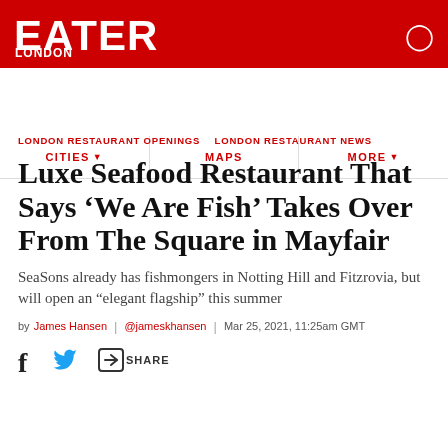EATER LONDON
CITIES  MAPS  MORE
LONDON RESTAURANT OPENINGS   LONDON RESTAURANT NEWS
Luxe Seafood Restaurant That Says ‘We Are Fish’ Takes Over From The Square in Mayfair
SeaSons already has fishmongers in Notting Hill and Fitzrovia, but will open an “elegant flagship” this summer
by James Hansen | @jameskhansen | Mar 25, 2021, 11:25am GMT